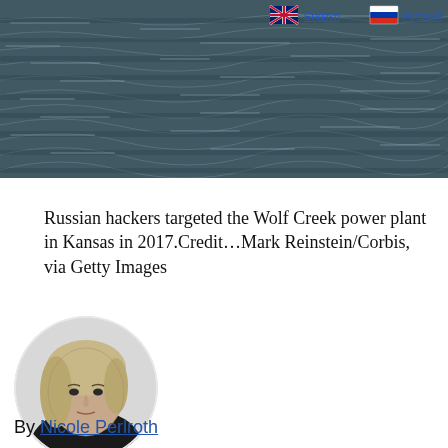[Figure (photo): Aerial or wide-angle photograph of a water surface with ripples, dark teal-grey tones, serving as hero/banner image for a news article]
Russian hackers targeted the Wolf Creek power plant in Kansas in 2017.Credit…Mark Reinstein/Corbis, via Getty Images
[Figure (photo): Black and white circular portrait photo of a woman with blonde hair, looking directly at the camera — Nicole Perlroth]
By Nicole Perlroth